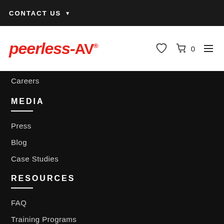CONTACT US
[Figure (logo): Peerless-AV logo in red italic text with registered trademark symbol, followed by navigation icons (heart, cart with 0, hamburger menu)]
Careers
MEDIA
Press
Blog
Case Studies
RESOURCES
FAQ
Training Programs
Catalog & Brochures